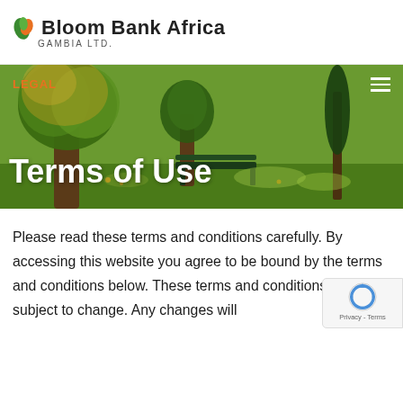Bloom Bank Africa GAMBIA LTD.
[Figure (photo): Park scene with green trees and a bench, used as hero banner background]
Terms of Use
Please read these terms and conditions carefully. By accessing this website you agree to be bound by the terms and conditions below. These terms and conditions are subject to change. Any changes will